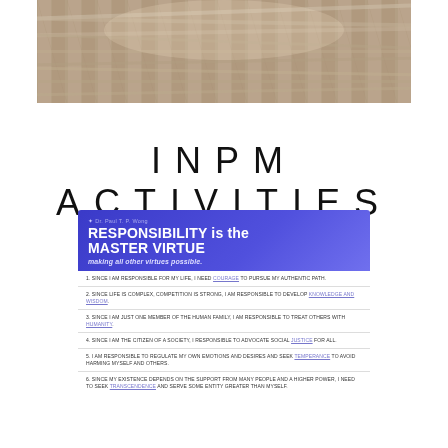[Figure (photo): Stack of open books photographed from above, showing pages fanned out, beige and cream tones]
INPM ACTIVITIES
[Figure (infographic): Dark blue/purple card titled 'RESPONSIBILITY is the MASTER VIRTUE making all other virtues possible' by Dr. Paul T.P. Wong, with 6 numbered statements about responsibility and virtues including courage, knowledge and wisdom, humanity, justice, temperance, and transcendence.]